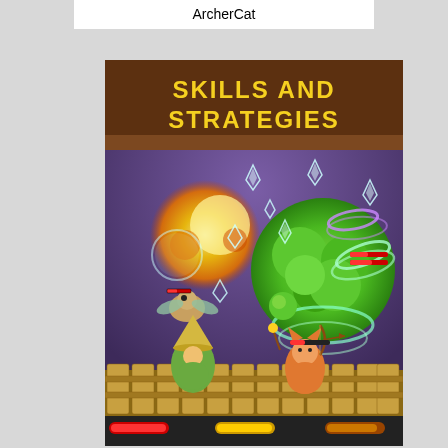ArcherCat
[Figure (screenshot): Mobile game screenshot showing 'Skills and Strategies' screen from ArcherCat game. Features a purple/dark background with cartoon-style battle scene: a large green tree-like creature with swirling rings, explosion effects in orange/yellow, crystal/ice projectiles scattered around, enemy creatures flying, archer cat character at bottom right in orange, a character with conical hat at bottom left, and wooden fence/wall at the bottom. UI elements visible at the very bottom including red and yellow bars.]